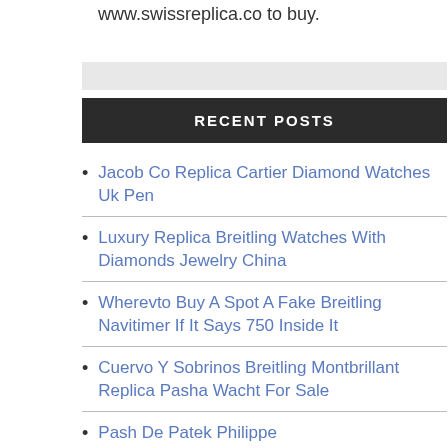www.swissreplica.co to buy.
RECENT POSTS
Jacob Co Replica Cartier Diamond Watches Uk Pen
Luxury Replica Breitling Watches With Diamonds Jewelry China
Wherevto Buy A Spot A Fake Breitling Navitimer If It Says 750 Inside It
Cuervo Y Sobrinos Breitling Montbrillant Replica Pasha Wacht For Sale
Pash De Patek Philippe